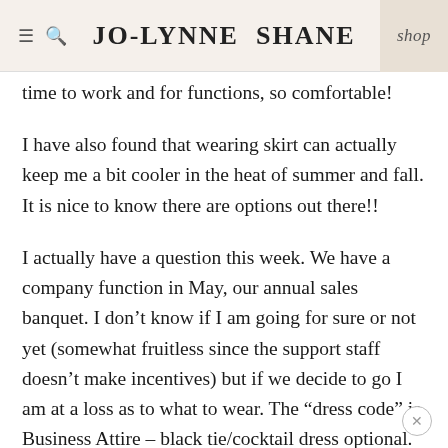JO-LYNNE SHANE | shop
time to work and for functions, so comfortable!
I have also found that wearing skirt can actually keep me a bit cooler in the heat of summer and fall. It is nice to know there are options out there!!
I actually have a question this week. We have a company function in May, our annual sales banquet. I don't know if I am going for sure or not yet (somewhat fruitless since the support staff doesn't make incentives) but if we decide to go I am at a loss as to what to wear. The “dress code” is Business Attire – black tie/cocktail dress optional. Does that mean I wear my khaki pants? Don’t think so, since EVERYONE talks about outfits for weeks